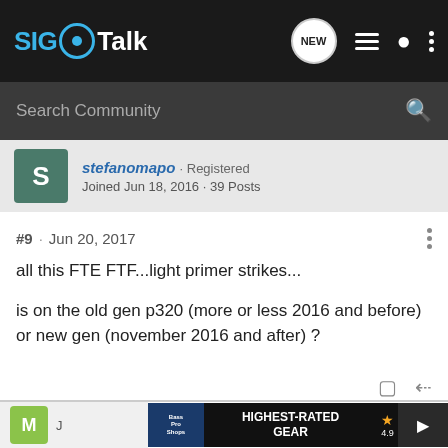SIG Talk
Search Community
stefanomapo · Registered
Joined Jun 18, 2016 · 39 Posts
#9 · Jun 20, 2017
all this FTE FTF...light primer strikes...

is on the old gen p320 (more or less 2016 and before) or new gen (november 2016 and after) ?
M · J...
[Figure (screenshot): Bass Pro Shops advertisement banner: HIGHEST-RATED GEAR, star rating 4.9, product image with play button]